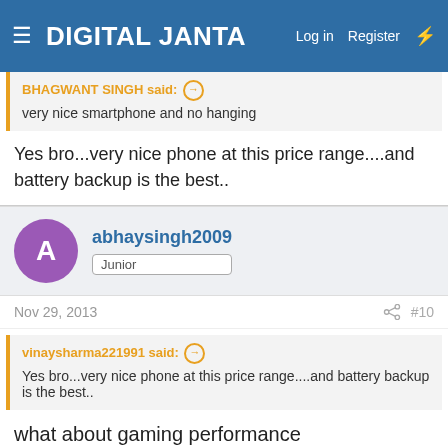DIGITAL JANTA — Log in  Register
BHAGWANT SINGH said: ↗
very nice smartphone and no hanging
Yes bro...very nice phone at this price range....and battery backup is the best..
abhaysingh2009
Junior
Nov 29, 2013  #10
vinaysharma221991 said: ↗
Yes bro...very nice phone at this price range....and battery backup is the best..
what about gaming performance